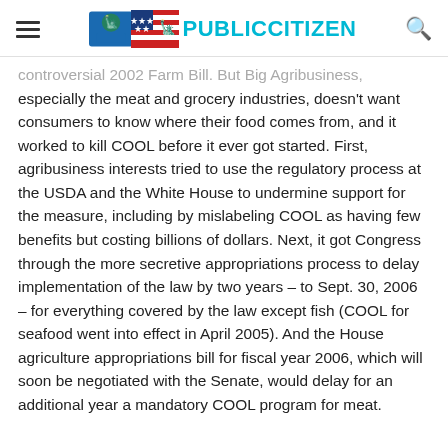PUBLIC CITIZEN
controversial 2002 Farm Bill. But Big Agribusiness, especially the meat and grocery industries, doesn't want consumers to know where their food comes from, and it worked to kill COOL before it ever got started. First, agribusiness interests tried to use the regulatory process at the USDA and the White House to undermine support for the measure, including by mislabeling COOL as having few benefits but costing billions of dollars. Next, it got Congress through the more secretive appropriations process to delay implementation of the law by two years – to Sept. 30, 2006 – for everything covered by the law except fish (COOL for seafood went into effect in April 2005). And the House agriculture appropriations bill for fiscal year 2006, which will soon be negotiated with the Senate, would delay for an additional year a mandatory COOL program for meat.